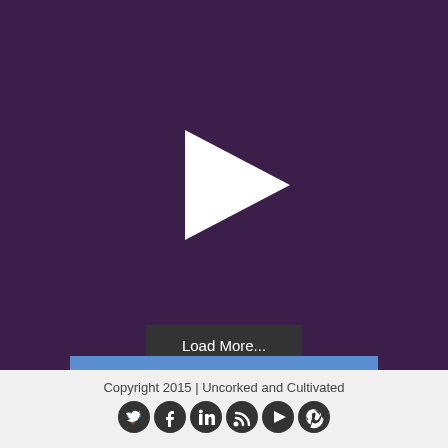[Figure (screenshot): Dark purple background webpage section with a white play button triangle icon in the center]
Load More...
Follow Uncorked on Instagram
Copyright 2015 | Uncorked and Cultivated
[Figure (illustration): Row of six circular dark social media icons: Twitter, Facebook, LinkedIn, RSS, Play/Video, Pinterest]